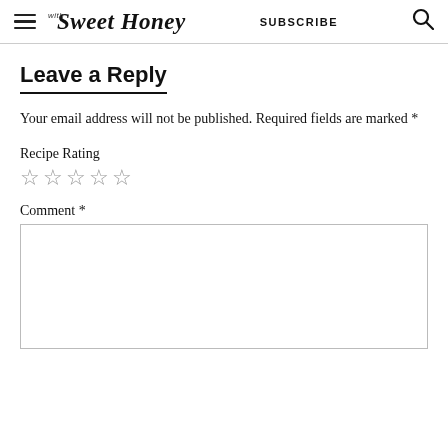with Sweet Honey | SUBSCRIBE
Leave a Reply
Your email address will not be published. Required fields are marked *
Recipe Rating ☆☆☆☆☆
Comment *